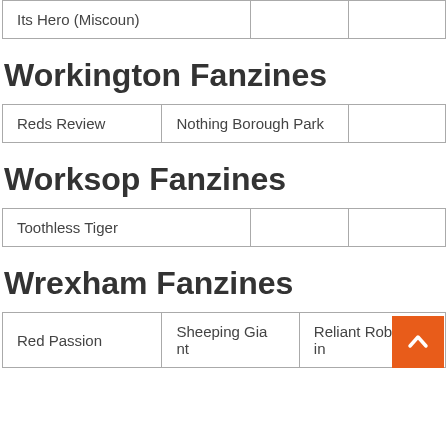| Its Hero (Miscoun) |  |  |
Workington Fanzines
| Reds Review | Nothing Borough Park |  |
Worksop Fanzines
| Toothless Tiger |  |  |
Wrexham Fanzines
| Red Passion | Sheeping Giant | Reliant Rob in |